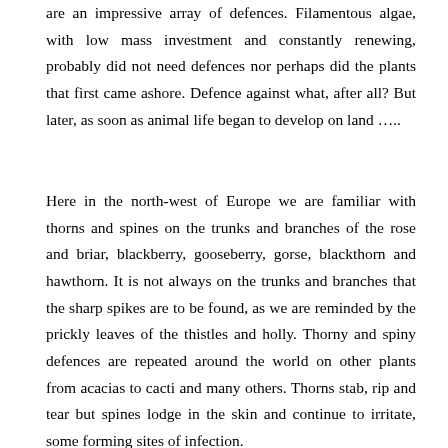are an impressive array of defences. Filamentous algae, with low mass investment and constantly renewing, probably did not need defences nor perhaps did the plants that first came ashore. Defence against what, after all? But later, as soon as animal life began to develop on land …..
Here in the north-west of Europe we are familiar with thorns and spines on the trunks and branches of the rose and briar, blackberry, gooseberry, gorse, blackthorn and hawthorn. It is not always on the trunks and branches that the sharp spikes are to be found, as we are reminded by the prickly leaves of the thistles and holly. Thorny and spiny defences are repeated around the world on other plants from acacias to cacti and many others. Thorns stab, rip and tear but spines lodge in the skin and continue to irritate, some forming sites of infection.